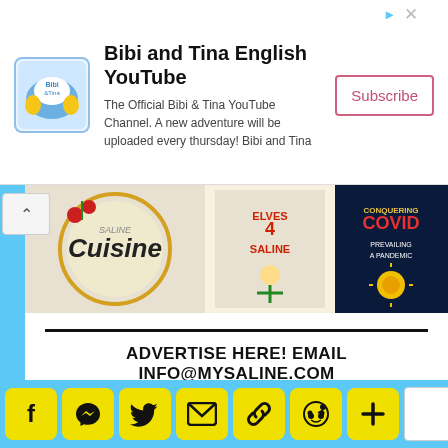[Figure (infographic): Bibi and Tina English YouTube advertisement banner with logo, text, and Subscribe button]
[Figure (photo): Row of book covers including Saline Cuisine, Elves 4 Saline, and Conquering Covid: Prevailing a Pandemic]
ADVERTISE HERE! EMAIL INFO@MYSALINE.COM
[Figure (infographic): Social sharing icon bar with Facebook, Messenger, Twitter, Email, Link, Reddit, More/Plus buttons in yellow, and a white share count box]